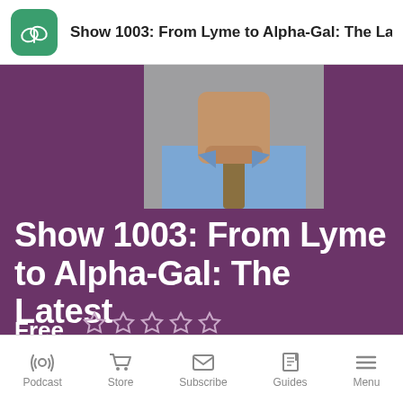Show 1003: From Lyme to Alpha-Gal: The Latest o.
[Figure (photo): Partial view of a man in a blue shirt and patterned tie against a gray background]
Show 1003: From Lyme to Alpha-Gal: The Latest on Tick-Borne Diseases
Free  ☆ ☆ ☆ ☆ ☆  In Stock
Podcast  Store  Subscribe  Guides  Menu